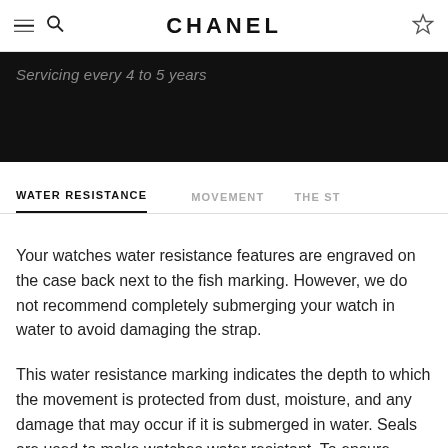CHANEL
Servicing every 4 to 5 years
WATER RESISTANCE
MOVEMENT
THE ST
Your watches water resistance features are engraved on the case back next to the fish marking. However, we do not recommend completely submerging your watch in water to avoid damaging the strap.
This water resistance marking indicates the depth to which the movement is protected from dust, moisture, and any damage that may occur if it is submerged in water. Seals are used to make watches water resistant. To ensure continuous water